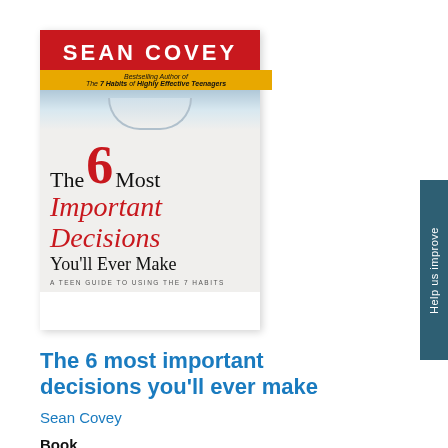[Figure (illustration): Book cover of 'The 6 Most Important Decisions You'll Ever Make' by Sean Covey. Red banner at top with author name in white uppercase letters. Yellow band beneath with 'Bestselling Author of The 7 Habits of Highly Effective Teenagers'. Cover shows a sports jersey collar and large red distressed numeral 6. Title text below in black and red serif font. Tagline: A Teen Guide to Using the 7 Habits.]
The 6 most important decisions you'll ever make
Sean Covey
Book
Using real stories from teens around the world, Sean